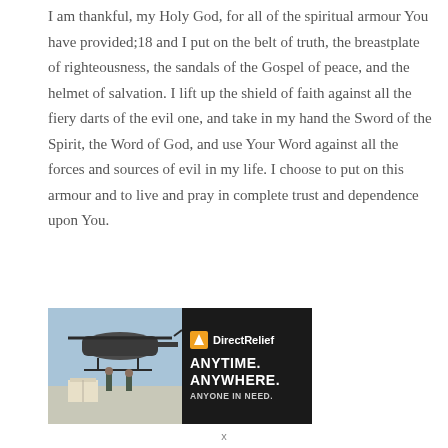I am thankful, my Holy God, for all of the spiritual armour You have provided;18 and I put on the belt of truth, the breastplate of righteousness, the sandals of the Gospel of peace, and the helmet of salvation. I lift up the shield of faith against all the fiery darts of the evil one, and take in my hand the Sword of the Spirit, the Word of God, and use Your Word against all the forces and sources of evil in my life. I choose to put on this armour and to live and pray in complete trust and dependence upon You.
[Figure (illustration): Advertisement banner for Direct Relief charity showing military helicopter loading scene on the left and black panel with text 'Direct Relief ANYTIME. ANYWHERE. ANYONE IN NEED.' on the right]
x